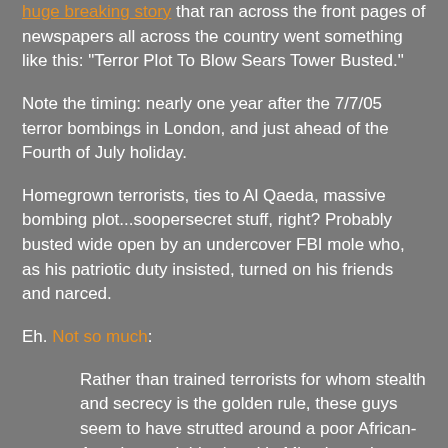huge breaking story that ran across the front pages of newspapers all across the country went something like this: "Terror Plot To Blow Sears Tower Busted."
Note the timing: nearly one year after the 7/7/05 terror bombings in London, and just ahead of the Fourth of July holiday.
Homegrown terrorists, ties to Al Qaeda, massive bombing plot...soopersecret stuff, right? Probably busted wide open by an undercover FBI mole who, as his patriotic duty insisted, turned on his friends and narced.
Eh. Not so much:
Rather than trained terrorists for whom stealth and secrecy is the golden rule, these guys seem to have strutted around a poor African-American neighborhood in Miami wearing military-style garb (sometimes also turbans), standing guard and doing exercise drills. You know, like the S1Ws in the old Public Enemy hip-hop shows. And just like the S1Ws, more like the...